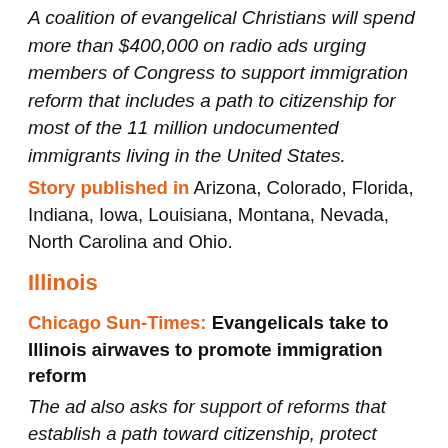A coalition of evangelical Christians will spend more than $400,000 on radio ads urging members of Congress to support immigration reform that includes a path to citizenship for most of the 11 million undocumented immigrants living in the United States.
Story published in Arizona, Colorado, Florida, Indiana, Iowa, Louisiana, Montana, Nevada, North Carolina and Ohio.
Illinois
Chicago Sun-Times: Evangelicals take to Illinois airwaves to promote immigration reform
The ad also asks for support of reforms that establish a path toward citizenship, protect family unity and the rule of law, guarantee secure borders and ensure fairness to taxpayers.
Oklahoma
The Oklahoman: A 'voice for the voiceless':